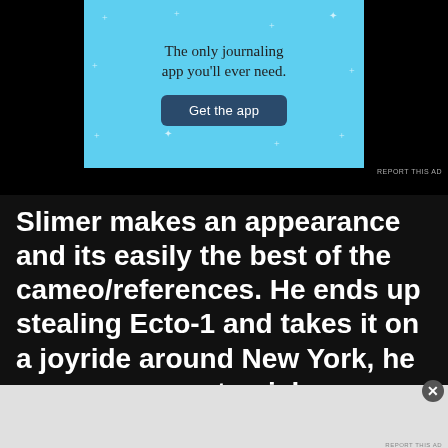[Figure (screenshot): Advertisement banner with light blue background showing 'The only journaling app you'll ever need.' with a 'Get the app' button and sparkle stars]
REPORT THIS AD
Slimer makes an appearance and its easily the best of the cameo/references. He ends up stealing Ecto-1 and takes it on a joyride around New York, he even manages to pick up a girlfriend along the way as he turns the
Advertisement
[Figure (screenshot): DuckDuckGo advertisement on orange background: 'Search, browse, and email with more privacy. All in One Free App' with phone mockup showing DuckDuckGo logo]
REPORT THIS AD